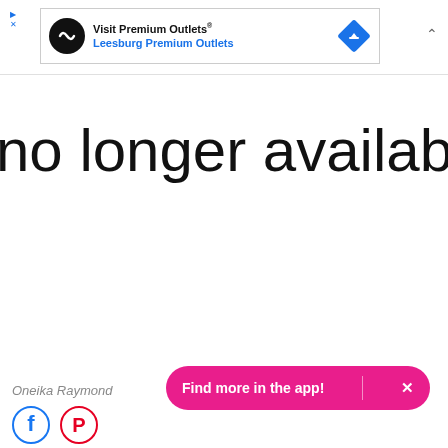[Figure (screenshot): Advertisement banner for Visit Premium Outlets / Leesburg Premium Outlets with logo and navigation icon]
no longer available.
Oneika Raymond
Find more in the app!  ×